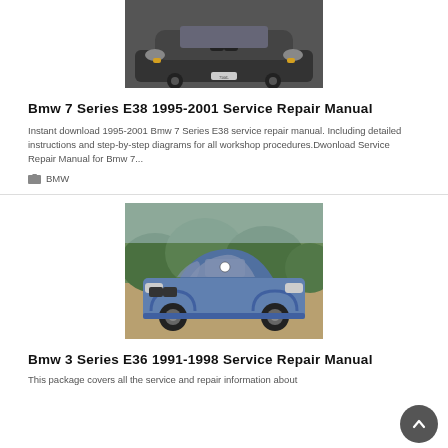[Figure (photo): Black BMW 7 Series E38 sedan, front-quarter view, photographed on a dark surface]
Bmw 7 Series E38 1995-2001 Service Repair Manual
Instant download 1995-2001 Bmw 7 Series E38 service repair manual. Including detailed instructions and step-by-step diagrams for all workshop procedures.Dwonload Service Repair Manual for Bmw 7...
BMW
[Figure (photo): Blue BMW 3 Series E36 M3 coupe, side view, parked on a gravel driveway with green hedge background]
Bmw 3 Series E36 1991-1998 Service Repair Manual
This package covers all the service and repair information about